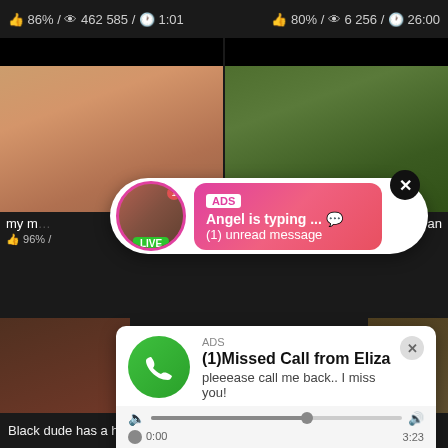86% / 462 585 / 1:01
80% / 6 256 / 26:00
[Figure (screenshot): Video thumbnail left - female figure]
[Figure (screenshot): Video thumbnail right - outdoor scene]
[Figure (screenshot): ADS chat popup - Angel is typing - LIVE badge]
ADS
Angel is typing ... 💬
(1) unread message
my m... / 96%
...an
[Figure (screenshot): ADS missed call popup - (1)Missed Call from Eliza - audio player]
ADS
(1)Missed Call from Eliza
pleeease call me back.. I miss you!
0:00  3:23
Black dude has a hot Asian
Her Sister Seduce Me With